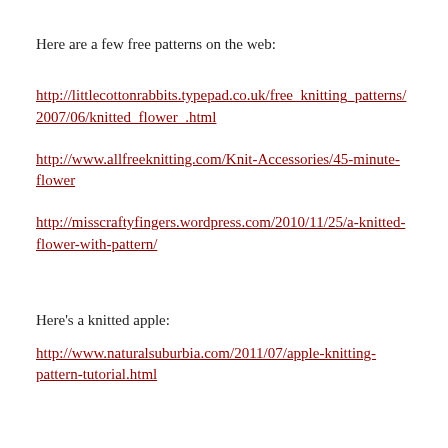Here are a few free patterns on the web:
http://littlecottonrabbits.typepad.co.uk/free_knitting_patterns/2007/06/knitted_flower_.html
http://www.allfreeknitting.com/Knit-Accessories/45-minute-flower
http://misscraftyfingers.wordpress.com/2010/11/25/a-knitted-flower-with-pattern/
Here's a knitted apple:
http://www.naturalsuburbia.com/2011/07/apple-knitting-pattern-tutorial.html
I have this book which I really like: